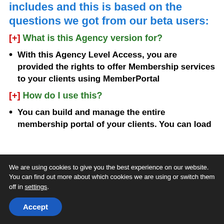includes and this is based on the questions we got from our beta users:
[+] What is this Agency version for?
With this Agency Level Access, you are provided the rights to offer Membership services to your clients using MemberPortal
[+] How do I use this?
You can build and manage the entire membership portal of your clients. You can load this portal with their content and assist them with having their own
We are using cookies to give you the best experience on our website.
You can find out more about which cookies we are using or switch them off in settings.
Accept